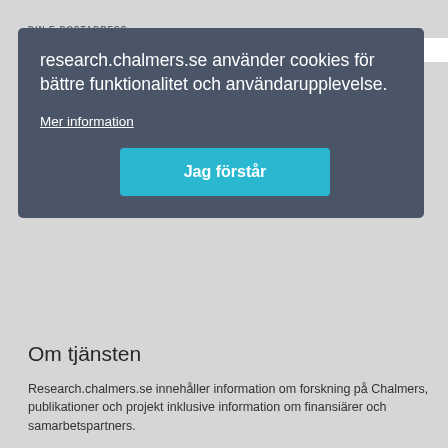DIN E-POSTADRESS
research.chalmers.se använder cookies för bättre funktionalitet och användarupplevelse.
Mer information
Jag förstår
Om tjänsten
Research.chalmers.se innehåller information om forskning på Chalmers, publikationer och projekt inklusive information om finansiärer och samarbetspartners.
Läs mer om tjänsten, täckningsgrad och vilka som kan se informationen
Personuppgifter och cookies
Tillgänglighet
Bibliografibearbetning
Länkar